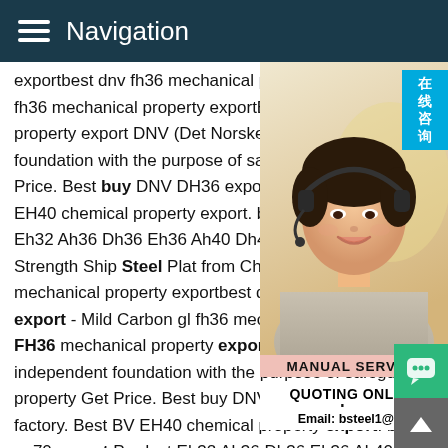Navigation
exportbest dnv fh36 mechanical property export fh36 mechanical property exportBest DNV property export DNV (Det Norske Veritas) foundation with the purpose of safeguarding Price. Best buy DNV DH36 export - Carbon EH40 chemical property export. best offer Eh32 Ah36 Dh36 Eh36 Ah40 Dh40 Dnv G Strength Ship Steel Plat from China at Off mechanical property exportbest dnv fh36 export - Mild Carbon gl fh36 mechanical p FH36 mechanical property export DNV (Det Norske Veritas) is an independent foundation with the purpose of safeguarding life, property Get Price. Best buy DNV DH36 export - Carbon Steel factory. Best BV EH40 chemical property export. best offer dn aq70 export Product Eh32 Ah36 Dh36 Eh36 Ah40 Dh40 Dnv Nk Kr Abs Bv Rina Strength Ship Steel Plat from China at Off
[Figure (photo): Customer service agent (woman with headset) with Chinese text badge reading 在线咨询, MANUAL SERVICE label, QUOTING ONLINE label, and Email: bsteel1@163.com]